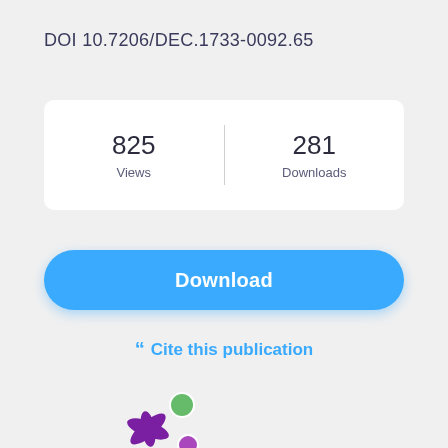DOI 10.7206/DEC.1733-0092.65
| Views | Downloads |
| --- | --- |
| 825 | 281 |
Download
Cite this publication
[Figure (logo): Altmetric logo — purple star/splash shape with green and purple circles]